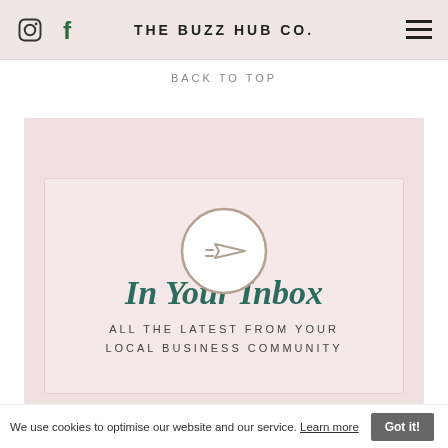THE BUZZ HUB CO.
BACK TO TOP
[Figure (illustration): Paper airplane send icon inside a circle, with motion lines, tan/beige outline style]
In Your Inbox
ALL THE LATEST FROM YOUR LOCAL BUSINESS COMMUNITY
We use cookies to optimise our website and our service. Learn more  Got it!